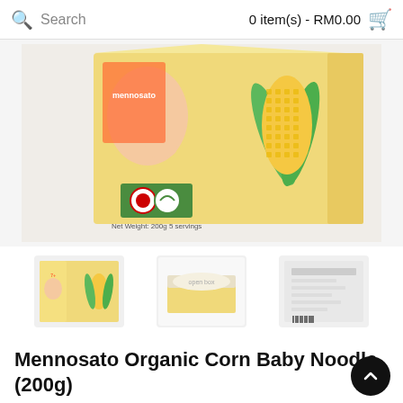Search   0 item(s) - RM0.00
[Figure (photo): Product photo of Mennosato Organic Corn Baby Noodle box, showing a yellow box with corn illustration and certification logos, partial view from above]
[Figure (photo): Three thumbnail images of the product: front of box with baby and corn, top/open view, and back/side of box]
Mennosato Organic Corn Baby Noodle (200g)